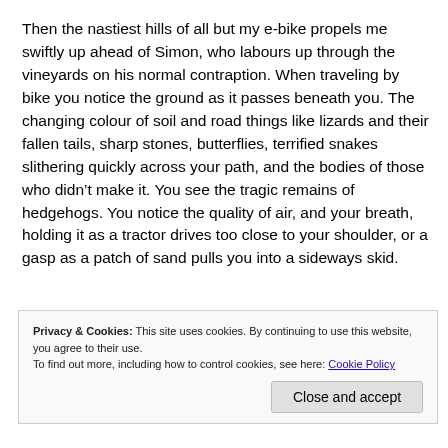Then the nastiest hills of all but my e-bike propels me swiftly up ahead of Simon, who labours up through the vineyards on his normal contraption. When traveling by bike you notice the ground as it passes beneath you. The changing colour of soil and road things like lizards and their fallen tails, sharp stones, butterflies, terrified snakes slithering quickly across your path, and the bodies of those who didn't make it. You see the tragic remains of hedgehogs. You notice the quality of air, and your breath, holding it as a tractor drives too close to your shoulder, or a gasp as a patch of sand pulls you into a sideways skid.
Privacy & Cookies: This site uses cookies. By continuing to use this website, you agree to their use. To find out more, including how to control cookies, see here: Cookie Policy
Close and accept